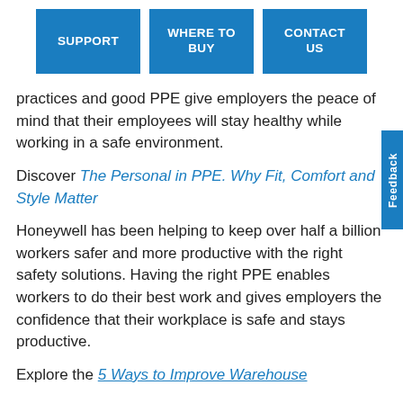[Figure (screenshot): Navigation bar with three blue buttons: SUPPORT, WHERE TO BUY, CONTACT US]
practices and good PPE give employers the peace of mind that their employees will stay healthy while working in a safe environment.
Discover The Personal in PPE. Why Fit, Comfort and Style Matter
Honeywell has been helping to keep over half a billion workers safer and more productive with the right safety solutions. Having the right PPE enables workers to do their best work and gives employers the confidence that their workplace is safe and stays productive.
Explore the 5 Ways to Improve Warehouse